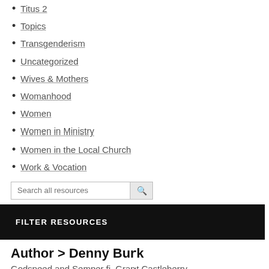Titus 2
Topics
Transgenderism
Uncategorized
Wives & Mothers
Womanhood
Women
Women in Ministry
Women in the Local Church
Work & Vocation
Search all resources
FILTER RESOURCES
Author > Denny Burk
Godspeed and Semper fi, Grant Castleberry.
June 29, 2017 By Denny Burk
When the board asked me to serve as president of CBMW a year